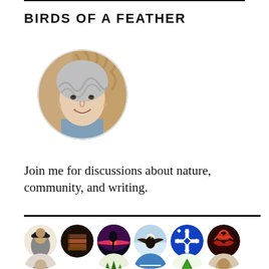BIRDS OF A FEATHER
[Figure (photo): Circular portrait photo of a smiling older woman with silver-gray curly hair wearing a light blue turtleneck, set against a woven background.]
Join me for discussions about nature, community, and writing.
[Figure (illustration): Row of circular avatar icons representing various community members/topics including a person in a hat, stacked books, a sunset landscape, an eagle, a geometric snowflake pattern, dark red bird pattern, and partial row below.]